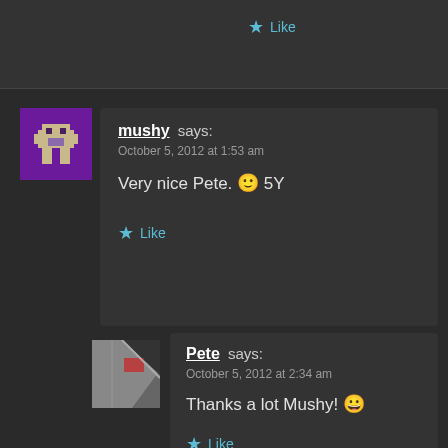Like
mushy says: October 5, 2012 at 1:53 am
Very nice Pete. 🙂 5Y
Like
[Figure (illustration): Pixel art avatar of mushy on purple background]
Pete says: October 5, 2012 at 2:34 am
Thanks a lot Mushy! 😀
Like
[Figure (photo): Photo avatar of Pete showing what appears to be a car door]
Jon says: October 6, 2012 at 9:01 am
[Figure (illustration): Pixel art avatar of Jon on green background]